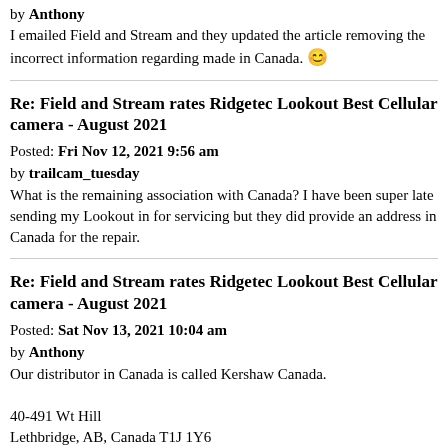by Anthony
I emailed Field and Stream and they updated the article removing the incorrect information regarding made in Canada. 😊
Re: Field and Stream rates Ridgetec Lookout Best Cellular camera - August 2021
Posted: Fri Nov 12, 2021 9:56 am
by trailcam_tuesday
What is the remaining association with Canada? I have been super late sending my Lookout in for servicing but they did provide an address in Canada for the repair.
Re: Field and Stream rates Ridgetec Lookout Best Cellular camera - August 2021
Posted: Sat Nov 13, 2021 10:04 am
by Anthony
Our distributor in Canada is called Kershaw Canada.

40-491 Wt Hill
Lethbridge, AB, Canada T1J 1Y6